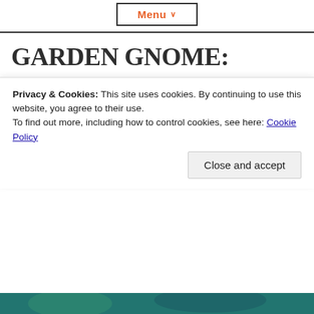Menu
GARDEN GNOME: SUMMER
Jenni Cresswell / June 1, 2021 / News, Tips
[Figure (photo): A garden gnome with a red pointed hat visible above green bokeh garden background]
Privacy & Cookies: This site uses cookies. By continuing to use this website, you agree to their use.
To find out more, including how to control cookies, see here: Cookie Policy
[Figure (photo): Bottom portion of garden scene with blue and green tones]